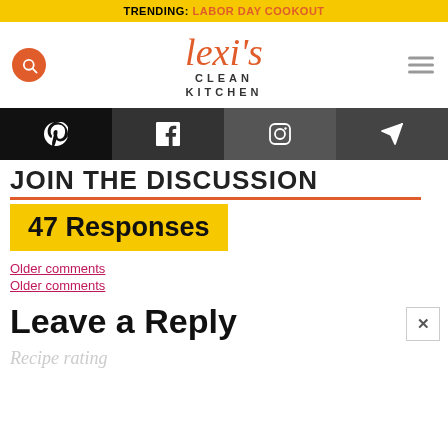TRENDING: LABOR DAY COOKOUT
[Figure (logo): Lexi's Clean Kitchen logo with search icon and hamburger menu]
[Figure (infographic): Social media icon bar: Pinterest, Facebook, Instagram, Send/Email]
JOIN THE DISCUSSION
47 Responses
Older comments
Older comments
Leave a Reply
Recipe rating